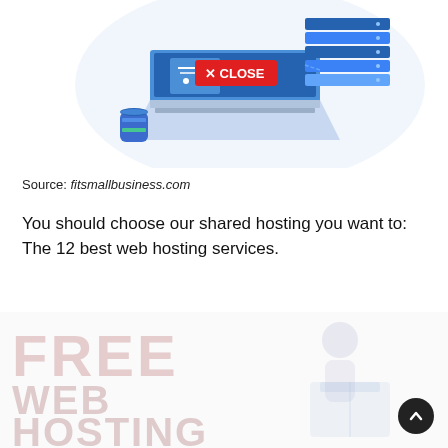[Figure (illustration): Isometric illustration of a laptop with shopping cart icon, server stack, and a coffee cup. A red 'X CLOSE' button overlay is visible in the center of the illustration.]
Source: fitsmallbusiness.com
You should choose our shared hosting you want to: The 12 best web hosting services.
[Figure (illustration): Background banner graphic with large faded pink/red text reading 'FREE WEB HOSTING' on the left, and a faded isometric illustration of a person with a box/package on the right.]